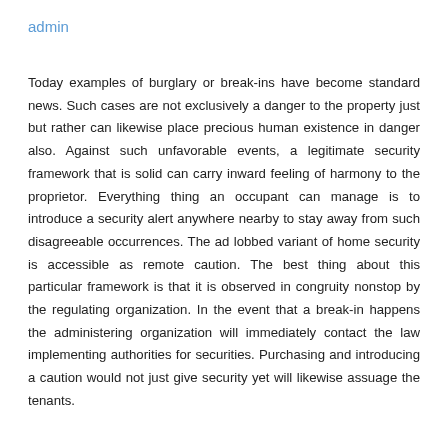admin
Today examples of burglary or break-ins have become standard news. Such cases are not exclusively a danger to the property just but rather can likewise place precious human existence in danger also. Against such unfavorable events, a legitimate security framework that is solid can carry inward feeling of harmony to the proprietor. Everything thing an occupant can manage is to introduce a security alert anywhere nearby to stay away from such disagreeable occurrences. The ad lobbed variant of home security is accessible as remote caution. The best thing about this particular framework is that it is observed in congruity nonstop by the regulating organization. In the event that a break-in happens the administering organization will immediately contact the law implementing authorities for securities. Purchasing and introducing a caution would not just give security yet will likewise assuage the tenants.